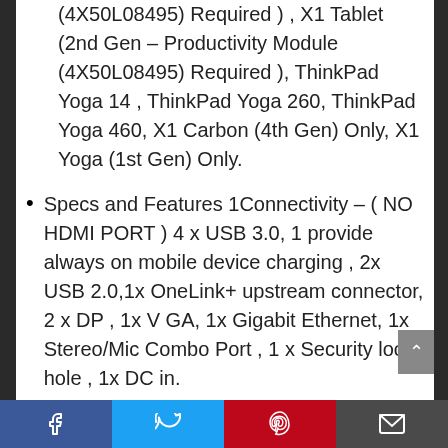(4X50L08495) Required ) , X1 Tablet (2nd Gen – Productivity Module (4X50L08495) Required ), ThinkPad Yoga 14 , ThinkPad Yoga 260, ThinkPad Yoga 460, X1 Carbon (4th Gen) Only, X1 Yoga (1st Gen) Only.
Specs and Features 1Connectivity – ( NO HDMI PORT ) 4 x USB 3.0, 1 provide always on mobile device charging , 2x USB 2.0,1x OneLink+ upstream connector, 2 x DP , 1x VGA, 1x Gigabit Ethernet, 1x Stereo/Mic Combo Port , 1 x Security lock hole , 1x DC in.
Facebook | Twitter | Pinterest | Email